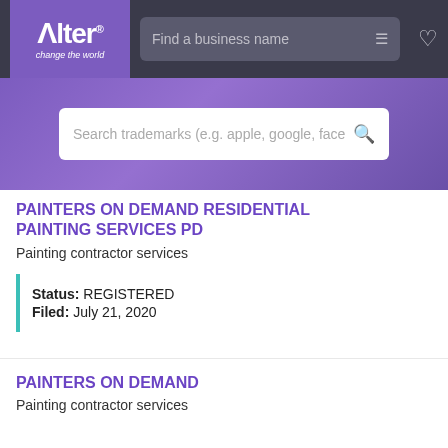[Figure (screenshot): Alter app navigation bar with logo, search field 'Find a business name', filter icon, and heart icon on dark background]
[Figure (screenshot): Purple hero section with search bar reading 'Search trademarks (e.g. apple, google, face' with search icon]
PAINTERS ON DEMAND RESIDENTIAL PAINTING SERVICES PD
Painting contractor services
Status: REGISTERED
Filed: July 21, 2020
PAINTERS ON DEMAND
Painting contractor services